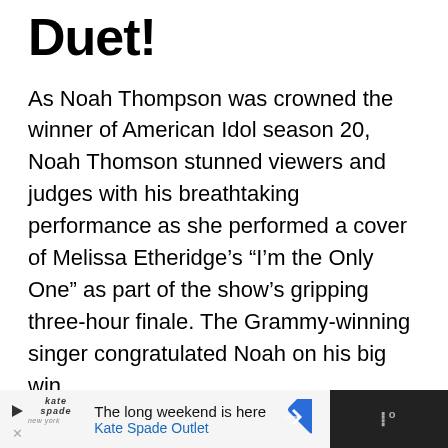Duet!
As Noah Thompson was crowned the winner of American Idol season 20, Noah Thomson stunned viewers and judges with his breathtaking performance as she performed a cover of Melissa Etheridge's “I’m the Only One” as part of the show’s gripping three-hour finale. The Grammy-winning singer congratulated Noah on his big win.
[Figure (other): Advertisement banner at bottom: dark background with Kate Spade Outlet ad showing play button icon, Kate Spade logo text, headline 'The long weekend is here', 'Kate Spade Outlet' in blue, a blue diamond/arrow icon, and a dark right section with stylized W logo.]